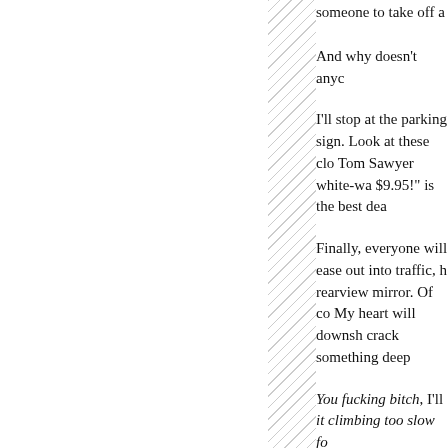someone to take off a
And why doesn't anyc
I'll stop at the parking sign. Look at these clo Tom Sawyer white-wa $9.95!" is the best dea
Finally, everyone will ease out into traffic, h rearview mirror. Of co My heart will downsh crack something deep
You fucking bitch, I'll it climbing too slow fo
Wait, maybe she misse